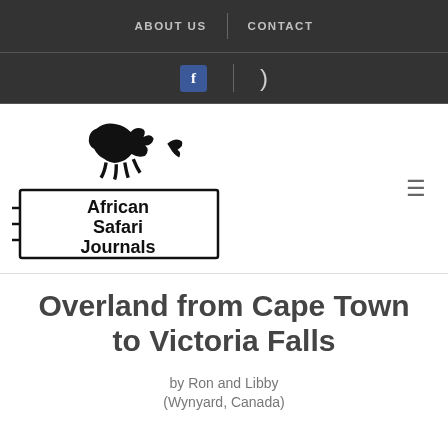ABOUT US | CONTACT
f )
[Figure (logo): African Safari Journals logo with a black leaping leopard/cheetah silhouette above a rectangular frame containing the text 'African Safari Journals']
Overland from Cape Town to Victoria Falls
by Ron and Libby
(Wynyard, Canada)